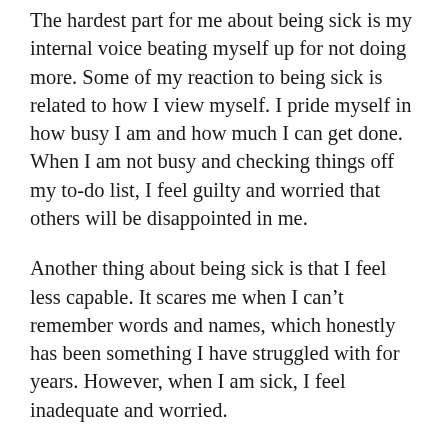The hardest part for me about being sick is my internal voice beating myself up for not doing more. Some of my reaction to being sick is related to how I view myself. I pride myself in how busy I am and how much I can get done. When I am not busy and checking things off my to-do list, I feel guilty and worried that others will be disappointed in me.
Another thing about being sick is that I feel less capable. It scares me when I can't remember words and names, which honestly has been something I have struggled with for years. However, when I am sick, I feel inadequate and worried.
I also have the expectation that if I am purpose-driven and taking care of myself, I shouldn't get sick at all. This belief is silly since sickness is just part of being alive. It means that I have been viewing being sick as a sign of failure of my body and spirit.